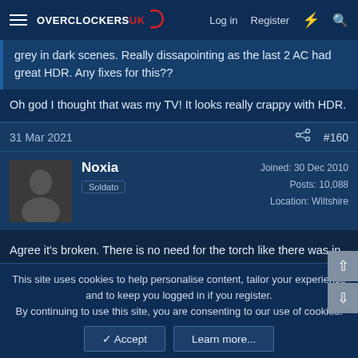Overclockers UK — Log in  Register
grey in dark scenes. Really dissapointing as the last 2 AC had great HDR. Any fixes for this??
Oh god I thought that was my TV! It looks really crappy with HDR.
31 Mar 2021  #160
Noxia
Soldato
Joined: 30 Dec 2010
Posts: 10,088
Location: Wiltshire
Agree it's broken. There is no need for the torch like there was in Origins when you were underground. I'm using an LG CX and I've followed the HDTV guide for setting up HDR so I'm confident no issue there.
A lot of games consciously don't use 0 black which is annoying.
This site uses cookies to help personalise content, tailor your experience and to keep you logged in if you register.
By continuing to use this site, you are consenting to our use of cookies.